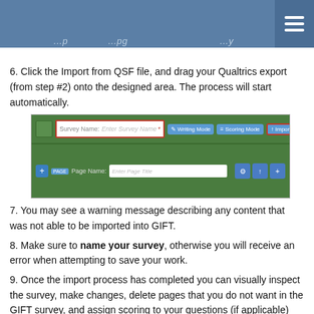...p...pg...y (truncated header text)
6. Click the Import from QSF file, and drag your Qualtrics export (from step #2) onto the designed area. The process will start automatically.
[Figure (screenshot): Screenshot of GIFT survey editor interface showing the Survey Name field, Writing Mode, Scoring Mode, Import from .qsf, and Save buttons at the top, and a Page Name row below.]
7. You may see a warning message describing any content that was not able to be imported into GIFT.
8. Make sure to name your survey, otherwise you will receive an error when attempting to save your work.
9. Once the import process has completed you can visually inspect the survey, make changes, delete pages that you do not want in the GIFT survey, and assign scoring to your questions (if applicable) using the “Scoring Mode” button at the top of the interface.
Note: Please report any feedback or concerns in the forums at GIFTTutoring.org